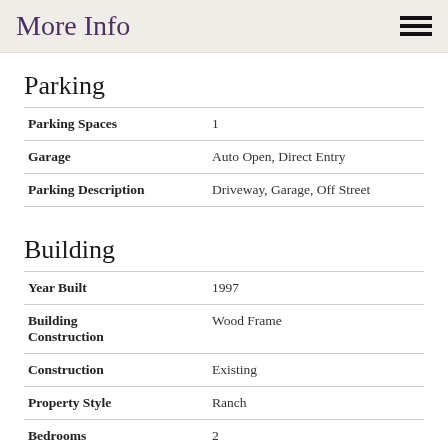More Info
Parking
| Field | Value |
| --- | --- |
| Parking Spaces | 1 |
| Garage | Auto Open, Direct Entry |
| Parking Description | Driveway, Garage, Off Street |
Building
| Field | Value |
| --- | --- |
| Year Built | 1997 |
| Building Construction | Wood Frame |
| Construction | Existing |
| Property Style | Ranch |
| Bedrooms | 2 |